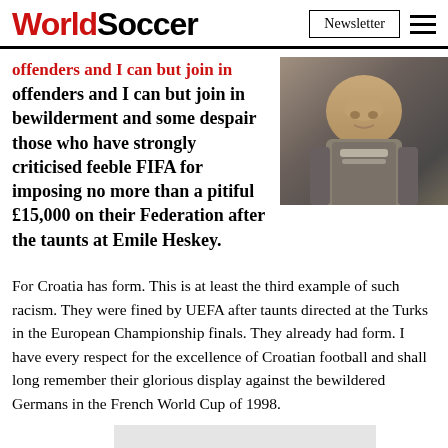WorldSoccer | Newsletter
offenders and I can but join in bewilderment and some despair those who have strongly criticised feeble FIFA for imposing no more than a pitiful £15,000 on their Federation after the taunts at Emile Heskey.
[Figure (photo): Close-up photo of an older man in a grey jacket and plaid shirt]
For Croatia has form. This is at least the third example of such racism. They were fined by UEFA after taunts directed at the Turks in the European Championship finals. They already had form. I have every respect for the excellence of Croatian football and shall long remember their glorious display against the bewildered Germans in the French World Cup of 1998.
But equ